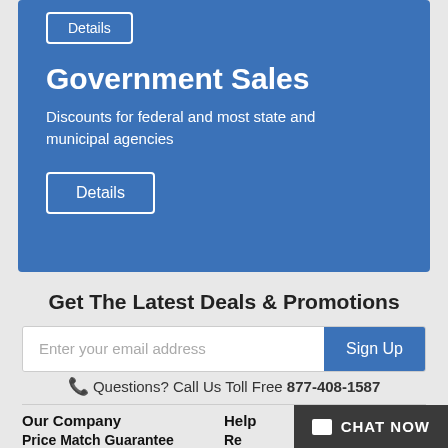[Figure (screenshot): Blue card section with Details button at top, Government Sales heading, description text, and Details button]
Government Sales
Discounts for federal and most state and municipal agencies
Details
Get The Latest Deals & Promotions
Enter your email address
Sign Up
Questions? Call Us Toll Free 877-408-1587
Our Company
Price Match Guarantee
Help
CHAT NOW